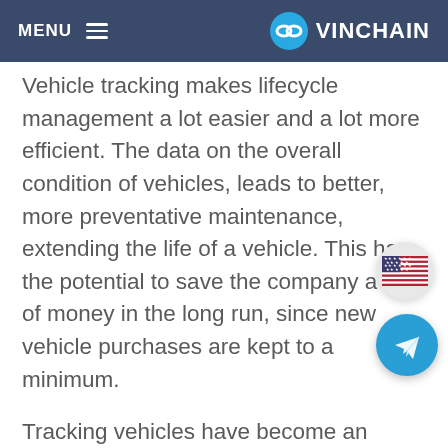MENU  VINCHAIN
Vehicle tracking makes lifecycle management a lot easier and a lot more efficient. The data on the overall condition of vehicles, leads to better, more preventative maintenance, extending the life of a vehicle. This has the potential to save the company a lot of money in the long run, since new vehicle purchases are kept to a minimum.
Tracking vehicles have become an integral part of effective fleet management. In fact, business owners and fleet managers who track their vehicles have a distinct advantage over competitors who don't. As vehicle tracking technology develops, it is going to play an ever-greater role in the success of